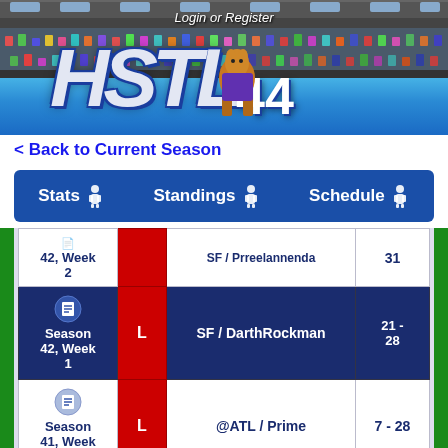[Figure (screenshot): HSTL fantasy sports league header with stadium background, logo reading HSTL 44, and crowd/bleachers imagery]
Login or Register
< Back to Current Season
| Week | Result | Opponent | Score |
| --- | --- | --- | --- |
| 42, Week 2 |  | SF / Prreelannenda | 31 |
| Season 42, Week 1 | L | SF / DarthRockman | 21 - 28 |
| Season 41, Week 16 | L | @ATL / Prime | 7 - 28 |